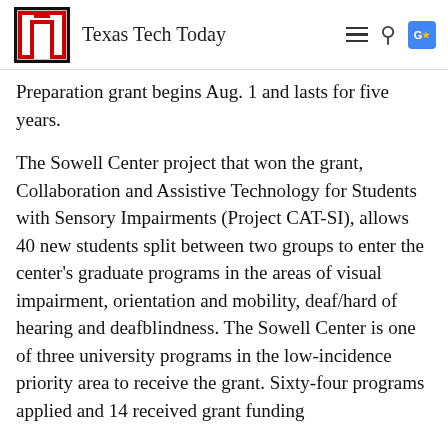Texas Tech Today
Preparation grant begins Aug. 1 and lasts for five years.
The Sowell Center project that won the grant, Collaboration and Assistive Technology for Students with Sensory Impairments (Project CAT-SI), allows 40 new students split between two groups to enter the center's graduate programs in the areas of visual impairment, orientation and mobility, deaf/hard of hearing and deafblindness. The Sowell Center is one of three university programs in the low-incidence priority area to receive the grant. Sixty-four programs applied and 14 received grant funding